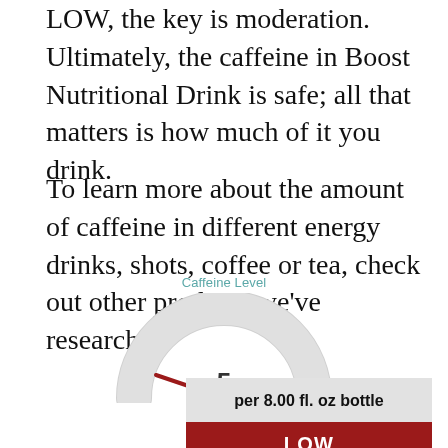LOW, the key is moderation. Ultimately, the caffeine in Boost Nutritional Drink is safe; all that matters is how much of it you drink.
To learn more about the amount of caffeine in different energy drinks, shots, coffee or tea, check out other products we've researched.
[Figure (infographic): Semicircular gauge meter showing caffeine level of 5 mg with a red needle pointing to the low end of the scale. Title reads 'Caffeine Level'.]
| per 8.00 fl. oz bottle |
| LOW |